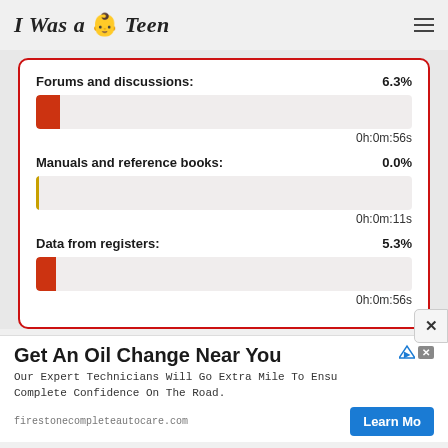I Was a Teen
[Figure (bar-chart): Forums and discussions / Manuals and reference books / Data from registers]
Get An Oil Change Near You
Our Expert Technicians Will Go Extra Mile To Ensure Complete Confidence On The Road.
firestonecompleteautocare.com